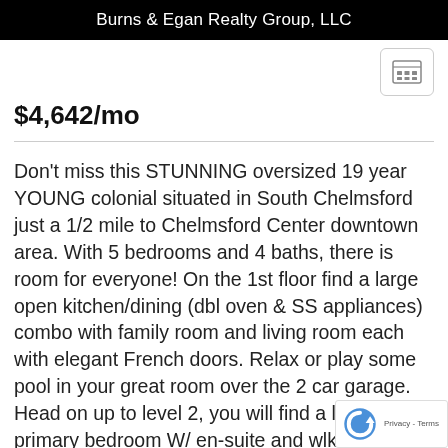Burns & Egan Realty Group, LLC
$4,642/mo
Don't miss this STUNNING oversized 19 year YOUNG colonial situated in South Chelmsford just a 1/2 mile to Chelmsford Center downtown area. With 5 bedrooms and 4 baths, there is room for everyone! On the 1st floor find a large open kitchen/dining (dbl oven & SS appliances) combo with family room and living room each with elegant French doors. Relax or play some pool in your great room over the 2 car garage. Head on up to level 2, you will find a large primary bedroom W/ en-suite and wlk-in c… & 3 other cozy bedrooms. One could easily… …home office. On the 3rd floor, you will find…